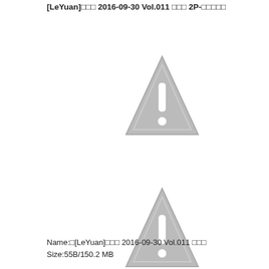[LeYuan]□□□ 2016-09-30 Vol.011 □□□ 2P-□□□□□
[Figure (other): Warning/image unavailable placeholder icon: grey triangle with exclamation mark (first)]
[Figure (other): Warning/image unavailable placeholder icon: grey triangle with exclamation mark (second)]
Name:□[LeYuan]□□□ 2016-09-30 Vol.011 □□□
Size:55B/150.2 MB